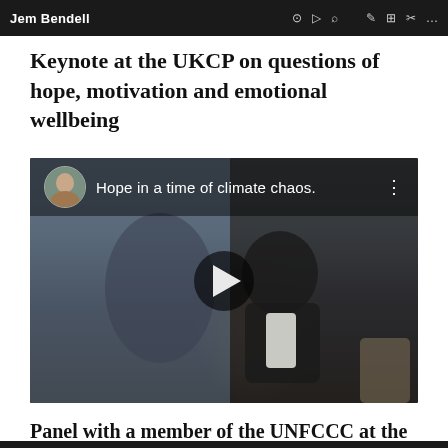Jem Bendell
Keynote at the UKCP on questions of hope, motivation and emotional wellbeing
[Figure (screenshot): YouTube video thumbnail showing a man in a dark suit giving a keynote presentation on stage. Video title overlay reads 'Hope in a time of climate chaos.' with a play button in the center and a circular avatar in the top left corner.]
Panel with a member of the UNFCCC at the International Leadership Association.